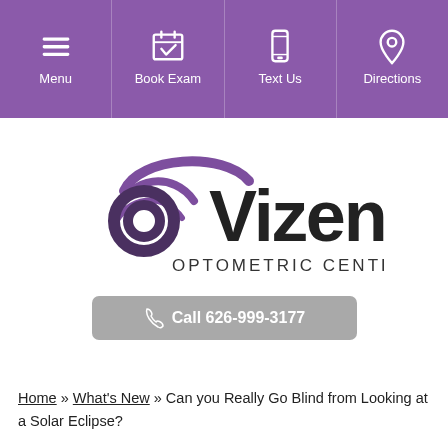Menu | Book Exam | Text Us | Directions
[Figure (logo): Vizen Optometric Center logo with purple swoosh/eye graphic and text 'Vizen OPTOMETRIC CENTER']
Call 626-999-3177
Home » What's New » Can you Really Go Blind from Looking at a Solar Eclipse?